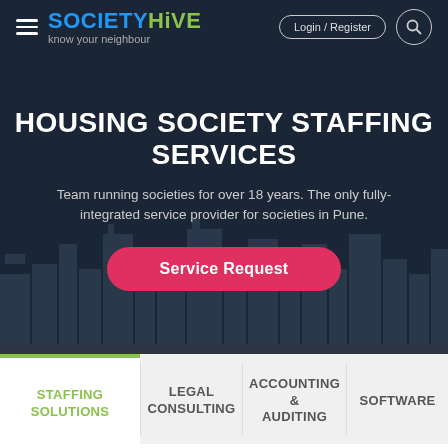SOCIETYHIVE – know your neighbour | Login / Register
HOUSING SOCIETY STAFFING SERVICES
Team running societies for over 18 years. The only fully-integrated service provider for societies in Pune.
Service Request
STAFFING SOLUTIONS
LEGAL CONSULTING
ACCOUNTING & AUDITING
SOFTWARE